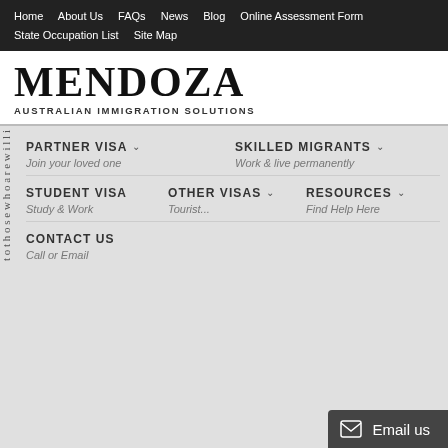Home  About Us  FAQs  News  Blog  Online Assessment Form  State Occupation List  Site Map
MENDOZA
AUSTRALIAN IMMIGRATION SOLUTIONS
t o t h o s e w h o a r e w i l l i
PARTNER VISA
Join your loved one
SKILLED MIGRANTS
Work & live permanently
STUDENT VISA
Study & Work
OTHER VISAS
Tourist...
RESOURCES
Find Help Here
CONTACT US
Call or Email
Email us